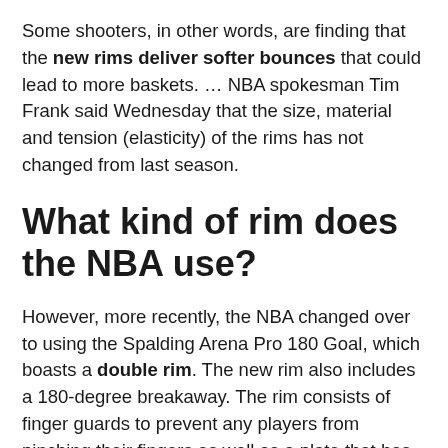Some shooters, in other words, are finding that the new rims deliver softer bounces that could lead to more baskets. … NBA spokesman Tim Frank said Wednesday that the size, material and tension (elasticity) of the rims has not changed from last season.
What kind of rim does the NBA use?
However, more recently, the NBA changed over to using the Spalding Arena Pro 180 Goal, which boasts a double rim. The new rim also includes a 180-degree breakaway. The rim consists of finger guards to prevent any players from pinching their fingers as well as a plate that has been covered in